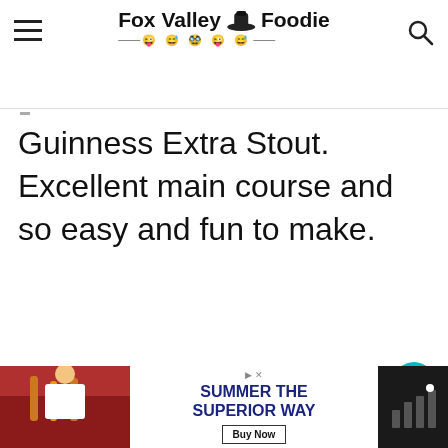Fox Valley Foodie
Guinness Extra Stout. Excellent main course and so easy and fun to make.
[Figure (screenshot): REPLY button with heart icon showing 23.3K likes and a share button below]
[Figure (screenshot): WHAT'S NEXT panel with Mexican Short Ribs thumbnail]
Mary
[Figure (screenshot): Advertisement banner: SUMMER THE SUPERIOR WAY with Buy Now button]